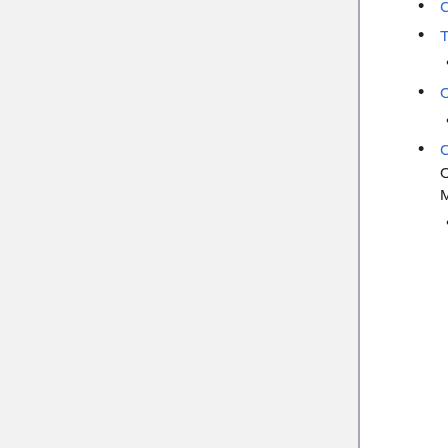Copy in DASH.
Twelve reminders about FRPAA, SPARC Open Access Newsletter, February 2, 2007.
Copy in DASH.
Open access in 2006, SPARC Open Access Newsletter, January 2, 2007.
Copy in DASH.
Creating an Intellectual Commons through Open Access, in Charlotte Hess and Elinor Ostrom (eds.), Understanding Knowledge as a Commons: From Theory to Practice, MIT Press, 2006.
This is a revised version of an article first presented at the Workshop on Scholarly Communication as a Commons,